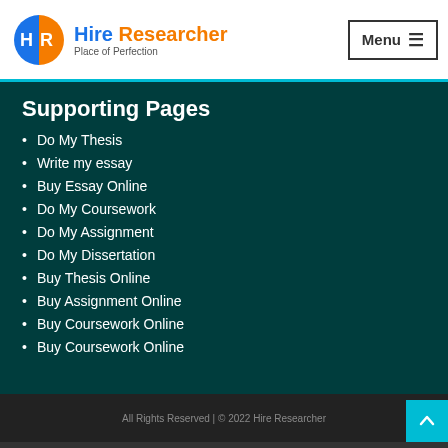[Figure (logo): Hire Researcher logo with circular HR icon and text 'Hire Researcher / Place of Perfection']
Supporting Pages
Do My Thesis
Write my essay
Buy Essay Online
Do My Coursework
Do My Assignment
Do My Dissertation
Buy Thesis Online
Buy Assignment Online
Buy Coursework Online
Buy Coursework Online
All Rights Reserved | © 2022 Hire Researcher
Leave a message, CR will call you back  ×